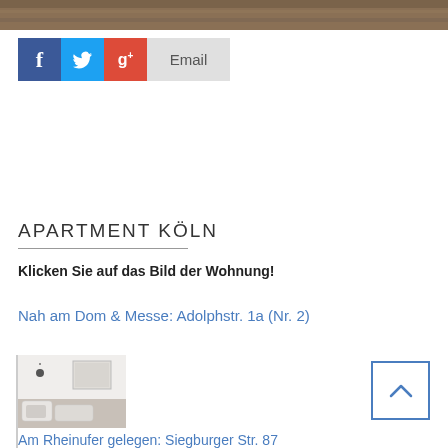[Figure (photo): Top banner photo showing a dark wooden or stone surface]
[Figure (infographic): Social share buttons: Facebook (blue), Twitter (light blue), Google+ (red), Email (grey)]
APARTMENT KÖLN
Klicken Sie auf das Bild der Wohnung!
Nah am Dom & Messe: Adolphstr. 1a (Nr. 2)
[Figure (photo): Interior photo of an apartment bedroom with white bedding and pillows]
Am Rheinufer gelegen: Siegburger Str. 87